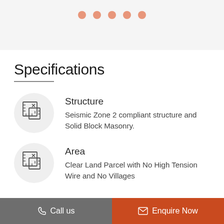[Figure (illustration): Five salmon/orange dots in a row on a light gray background, acting as a carousel/pagination indicator]
Specifications
[Figure (illustration): Blueprint/architecture icon in a gray circle - ruler and drafting triangle]
Structure
Seismic Zone 2 compliant structure and Solid Block Masonry.
[Figure (illustration): Blueprint/architecture icon in a gray circle - ruler and drafting triangle]
Area
Clear Land Parcel with No High Tension Wire and No Villages
Call us    Enquire Now